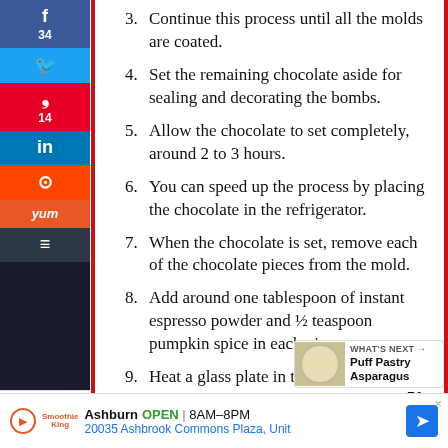3. Continue this process until all the molds are coated.
4. Set the remaining chocolate aside for sealing and decorating the bombs.
5. Allow the chocolate to set completely, around 2 to 3 hours.
6. You can speed up the process by placing the chocolate in the refrigerator.
7. When the chocolate is set, remove each of the chocolate pieces from the mold.
8. Add around one tablespoon of instant espresso powder and ½ teaspoon pumpkin spice in each piece.
9. Heat a glass plate in the microwave 30 seconds.
48 SHARES
WHAT'S NEXT → Puff Pastry Asparagus
51
Ashburn OPEN | 8AM–8PM 20035 Ashbrook Commons Plaza, Unit